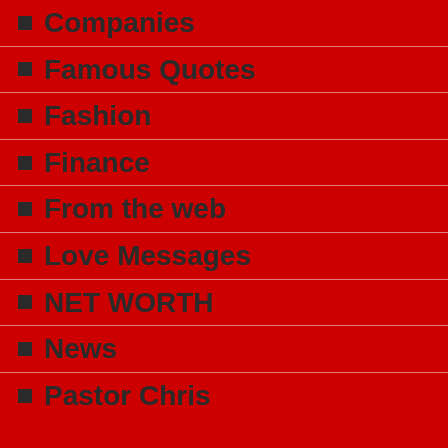Companies
Famous Quotes
Fashion
Finance
From the web
Love Messages
NET WORTH
News
Pastor Chris